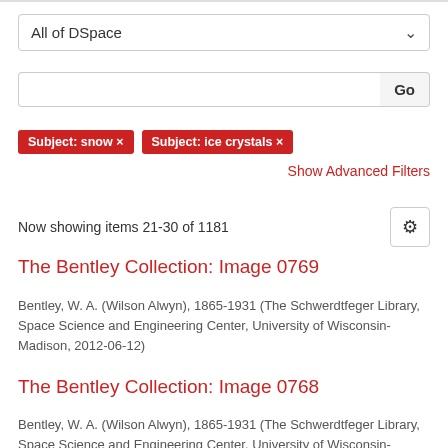All of DSpace
Go
Subject: snow ×
Subject: ice crystals ×
Show Advanced Filters
Now showing items 21-30 of 1181
The Bentley Collection: Image 0769
Bentley, W. A. (Wilson Alwyn), 1865-1931 (The Schwerdtfeger Library, Space Science and Engineering Center, University of Wisconsin-Madison, 2012-06-12)
The Bentley Collection: Image 0768
Bentley, W. A. (Wilson Alwyn), 1865-1931 (The Schwerdtfeger Library, Space Science and Engineering Center, University of Wisconsin-